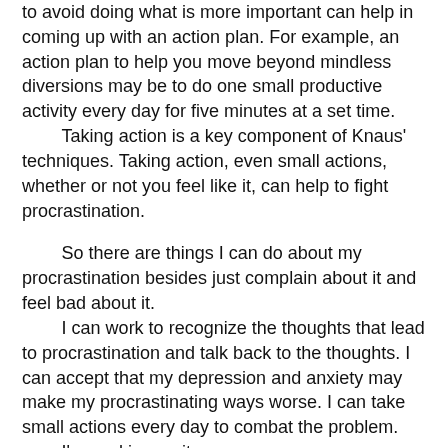to avoid doing what is more important can help in coming up with an action plan. For example, an action plan to help you move beyond mindless diversions may be to do one small productive activity every day for five minutes at a set time.
Taking action is a key component of Knaus' techniques. Taking action, even small actions, whether or not you feel like it, can help to fight procrastination.
So there are things I can do about my procrastination besides just complain about it and feel bad about it.
I can work to recognize the thoughts that lead to procrastination and talk back to the thoughts. I can accept that my depression and anxiety may make my procrastinating ways worse. I can take small actions every day to combat the problem.
I'm working on it.